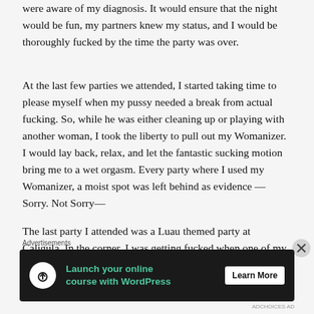were aware of my diagnosis. It would ensure that the night would be fun, my partners knew my status, and I would be thoroughly fucked by the time the party was over.
At the last few parties we attended, I started taking time to please myself when my pussy needed a break from actual fucking. So, while he was either cleaning up or playing with another woman, I took the liberty to pull out my Womanizer. I would lay back, relax, and let the fantastic sucking motion bring me to a wet orgasm. Every party where I used my Womanizer, a moist spot was left behind as evidence — Sorry. Not Sorry—
The last party I attended was a Luau themed party at Caligula. In the corner, I was getting fucked when one of my other partners entered the room, positioned himself in front
Advertisements
[Figure (other): Advertisement banner: dark background with tree/upload icon in white circle, green text 'Launch your online course with WordPress', white 'Learn More' button]